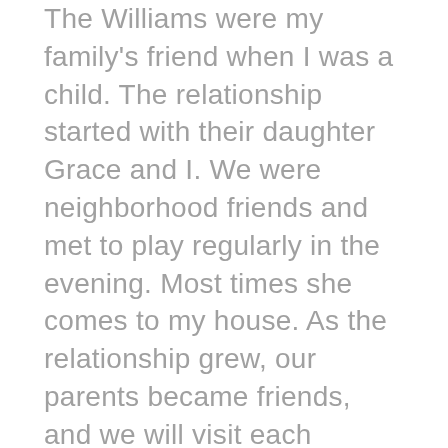The Williams were my family's friend when I was a child. The relationship started with their daughter Grace and I. We were neighborhood friends and met to play regularly in the evening. Most times she comes to my house. As the relationship grew, our parents became friends, and we will visit each other's home. Grace's family was more prosperous than mine, but that did not stop the relationship we were friends, we were happy. However, one day, the unexpected happened, money was missing in Grace's home, and my sibling James was accused as the thief. No parent wanted their child to be called a thief, especially when